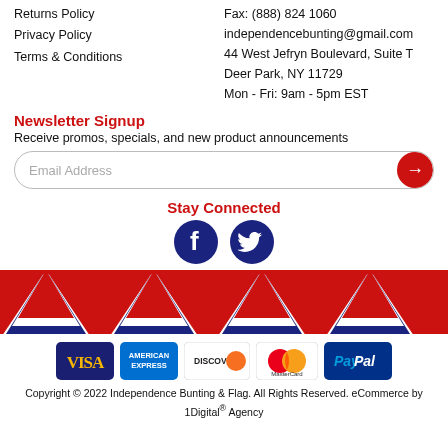Returns Policy
Privacy Policy
Terms & Conditions
Fax: (888) 824 1060
independencebunting@gmail.com
44 West Jefryn Boulevard, Suite T Deer Park, NY 11729
Mon - Fri: 9am - 5pm EST
Newsletter Signup
Receive promos, specials, and new product announcements
Stay Connected
[Figure (illustration): Facebook and Twitter social media icons as dark blue circles with white logos]
[Figure (illustration): Patriotic bunting strip with red, white, and blue fan decorations across the full width]
[Figure (illustration): Payment method icons: Visa, American Express, Discover, MasterCard, PayPal]
Copyright © 2022 Independence Bunting & Flag. All Rights Reserved. eCommerce by 1Digital® Agency